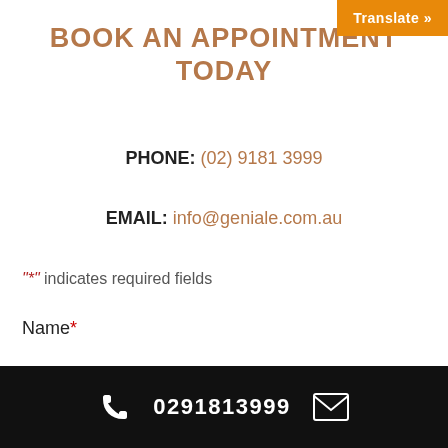BOOK AN APPOINTMENT TODAY
PHONE: (02) 9181 3999
EMAIL: info@geniale.com.au
"*" indicates required fields
Name *
First
0291813999